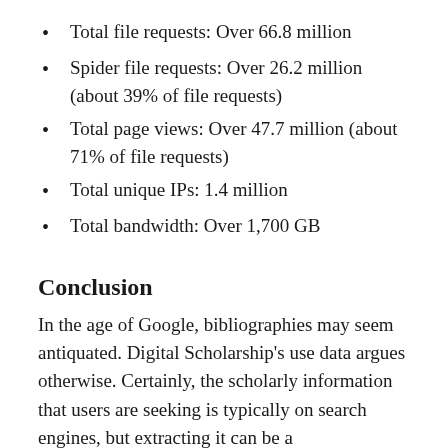Total file requests: Over 66.8 million
Spider file requests: Over 26.2 million (about 39% of file requests)
Total page views: Over 47.7 million (about 71% of file requests)
Total unique IPs: 1.4 million
Total bandwidth: Over 1,700 GB
Conclusion
In the age of Google, bibliographies may seem antiquated. Digital Scholarship's use data argues otherwise. Certainly, the scholarly information that users are seeking is typically on search engines, but extracting it can be a